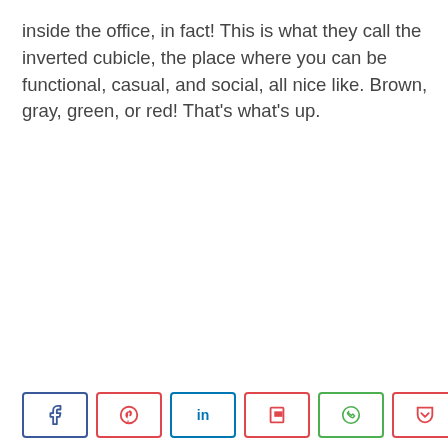inside the office, in fact! This is what they call the inverted cubicle, the place where you can be functional, casual, and social, all nice like. Brown, gray, green, or red! That's what's up.
[Figure (other): Social share bar with buttons for Facebook, Pinterest, LinkedIn, Flipboard, WhatsApp, Pocket, and a share count of 311 SHARES]